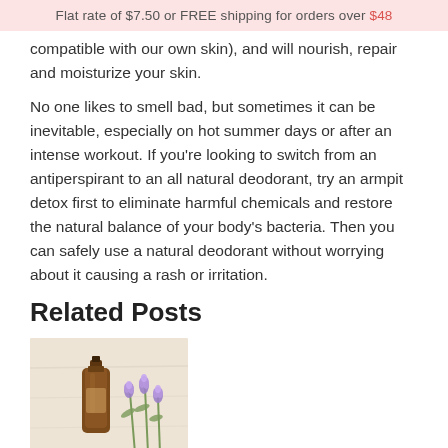Flat rate of $7.50 or FREE shipping for orders over $48
compatible with our own skin), and will nourish, repair and moisturize your skin.
No one likes to smell bad, but sometimes it can be inevitable, especially on hot summer days or after an intense workout. If you're looking to switch from an antiperspirant to an all natural deodorant, try an armpit detox first to eliminate harmful chemicals and restore the natural balance of your body's bacteria. Then you can safely use a natural deodorant without worrying about it causing a rash or irritation.
Related Posts
[Figure (photo): A brown glass essential oil bottle next to purple lavender flowers on a light wooden surface]